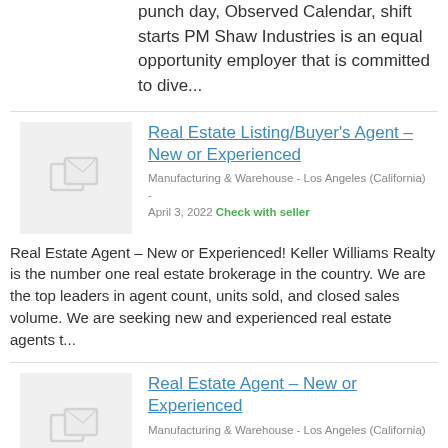punch day, Observed Calendar, shift starts PM Shaw Industries is an equal opportunity employer that is committed to dive...
Real Estate Listing/Buyer's Agent – New or Experienced
Manufacturing & Warehouse - Los Angeles (California) - April 3, 2022 Check with seller
Real Estate Agent – New or Experienced! Keller Williams Realty is the number one real estate brokerage in the country. We are the top leaders in agent count, units sold, and closed sales volume. We are seeking new and experienced real estate agents t...
Real Estate Agent – New or Experienced
Manufacturing & Warehouse - Los Angeles (California) - April 3, 2022 Check with seller
Keller Williams Realty is the number one real estate brokerage in the country. We are the top leaders in agent count, units sold, and